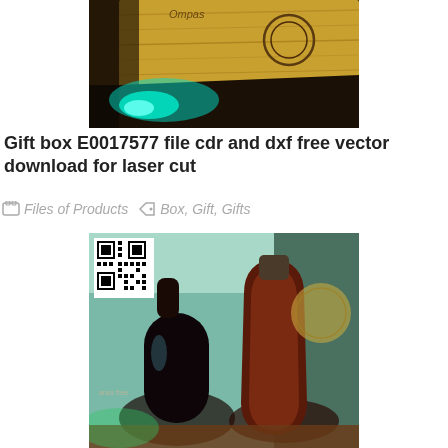[Figure (photo): Photo of a wooden gift box being laser cut, with a glowing teal/green laser light visible at the corner of the box. The box surface shows wood grain and a decorative circular pattern engraved on top.]
Gift box E0017577 file cdr and dxf free vector download for laser cut
Files of Products   Box, Gift, Gifts
[Figure (photo): Photo showing two decorative bottles — one glass bottle and one wooden/leather bottle holder/case — with a QR code overlaid in the upper left corner. Background shows greenery and a decorative wall piece.]